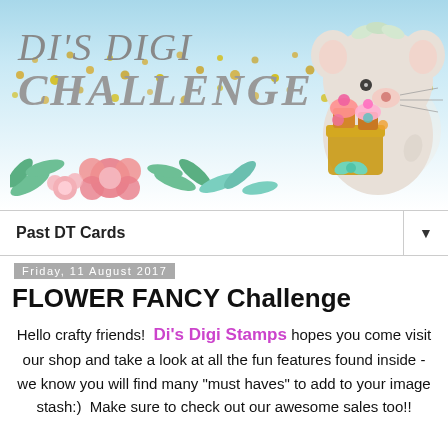[Figure (illustration): Di's Digi Challenge blog banner with light blue sky background, gold confetti dots, large stylized text 'DI'S DIGI CHALLENGE' in grey italic font, pink flower and green leaf decorations at bottom left, and a cute illustrated mouse holding cupcakes at the right side]
Past DT Cards ▼
Friday, 11 August 2017
FLOWER FANCY Challenge
Hello crafty friends!  Di's Digi Stamps hopes you come visit our shop and take a look at all the fun features found inside - we know you will find many "must haves" to add to your image stash:)  Make sure to check out our awesome sales too!!